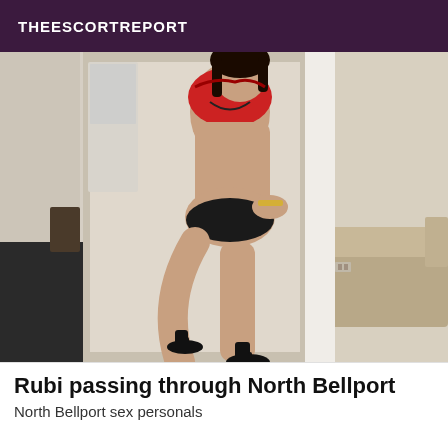THEESCORTREPORT
[Figure (photo): A woman posing in a room wearing a red top and black heels, leaning against a white wall divider with furniture visible in the background.]
Rubi passing through North Bellport
North Bellport sex personals